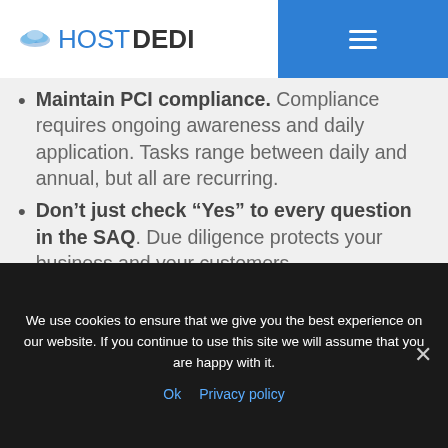HOSTDEDI
Maintain PCI compliance. Compliance requires ongoing awareness and daily application. Tasks range between daily and annual, but all are recurring.
Don't just check “Yes” to every question in the SAQ. Due diligence protects your business and your customers.
Know your code, or use a developer that does. Implement best practices of deployment using staging and dev sites...
We use cookies to ensure that we give you the best experience on our website. If you continue to use this site we will assume that you are happy with it.
Ok   Privacy policy